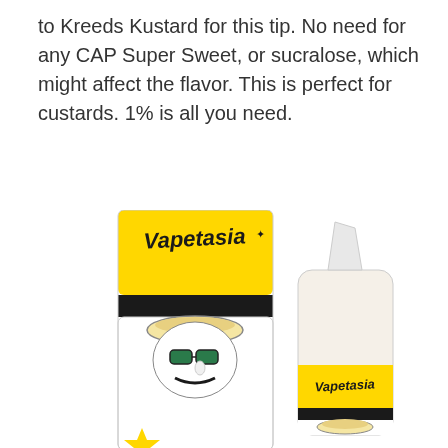to Kreeds Kustard for this tip. No need for any CAP Super Sweet, or sucralose, which might affect the flavor. This is perfect for custards. 1% is all you need.
[Figure (photo): Product photo showing a Vapetasia branded e-liquid box (yellow with black stripe, featuring a cartoon character wearing sunglasses with a custard bowl) next to a clear bottle with a white dropper tip and yellow Vapetasia label.]